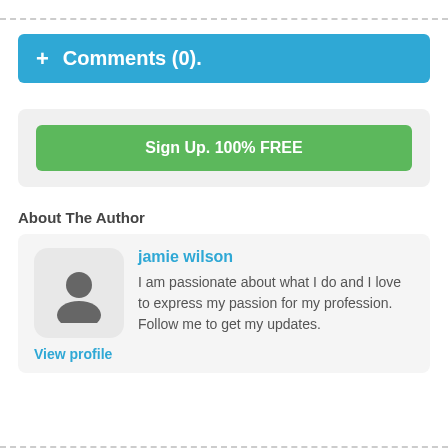+ Comments (0).
Sign Up. 100% FREE
About The Author
jamie wilson
I am passionate about what I do and I love to express my passion for my profession. Follow me to get my updates.
View profile